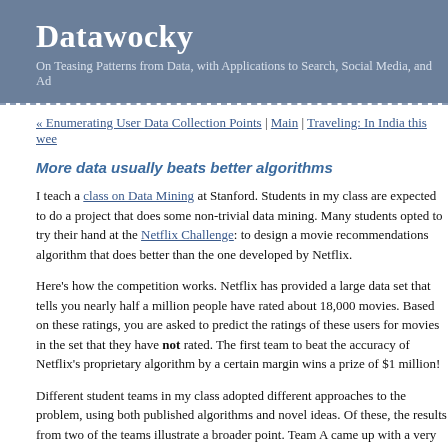Datawocky
On Teasing Patterns from Data, with Applications to Search, Social Media, and Ad
« Enumerating User Data Collection Points | Main | Traveling: In India this wee
More data usually beats better algorithms
I teach a class on Data Mining at Stanford. Students in my class are expected to do a project that does some non-trivial data mining. Many students opted to try their hand at the Netflix Challenge: to design a movie recommendations algorithm that does better than the one developed by Netflix.
Here's how the competition works. Netflix has provided a large data set that tells you nearly half a million people have rated about 18,000 movies. Based on these ratings, you are asked to predict the ratings of these users for movies in the set that they have not rated. The first team to beat the accuracy of Netflix's proprietary algorithm by a certain margin wins a prize of $1 million!
Different student teams in my class adopted different approaches to the problem, using both published algorithms and novel ideas. Of these, the results from two of the teams illustrate a broader point. Team A came up with a very sophisticated algorithm using Netflix data. Team B used a very simple algorithm, but they added in additional data beyond the Netflix set: information about movie genres from the Internet Movi